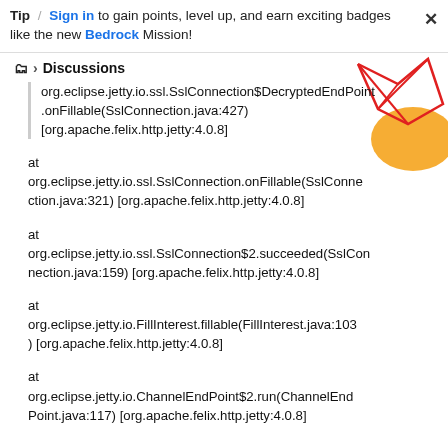Tip / Sign in to gain points, level up, and earn exciting badges like the new Bedrock Mission!
📁 > Discussions
org.eclipse.jetty.io.ssl.SslConnection$DecryptedEndPoint.onFillable(SslConnection.java:427) [org.apache.felix.http.jetty:4.0.8]
at org.eclipse.jetty.io.ssl.SslConnection.onFillable(SslConnection.java:321) [org.apache.felix.http.jetty:4.0.8]
at org.eclipse.jetty.io.ssl.SslConnection$2.succeeded(SslConnection.java:159) [org.apache.felix.http.jetty:4.0.8]
at org.eclipse.jetty.io.FillInterest.fillable(FillInterest.java:103) [org.apache.felix.http.jetty:4.0.8]
at org.eclipse.jetty.io.ChannelEndPoint$2.run(ChannelEndPoint.java:117) [org.apache.felix.http.jetty:4.0.8]